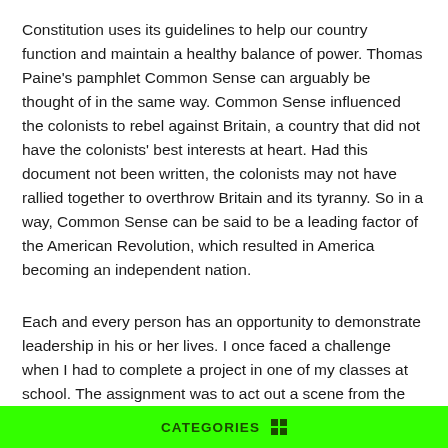Constitution uses its guidelines to help our country function and maintain a healthy balance of power. Thomas Paine's pamphlet Common Sense can arguably be thought of in the same way. Common Sense influenced the colonists to rebel against Britain, a country that did not have the colonists' best interests at heart. Had this document not been written, the colonists may not have rallied together to overthrow Britain and its tyranny. So in a way, Common Sense can be said to be a leading factor of the American Revolution, which resulted in America becoming an independent nation.
Each and every person has an opportunity to demonstrate leadership in his or her lives. I once faced a challenge when I had to complete a project in one of my classes at school. The assignment was to act out a scene from the novel, Gone With the Wind with three other people. I was excited about the project because it seemed like it would be fun, but my attitude toward it changed when I realized I had been
CATEGORIES